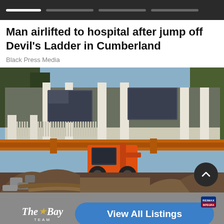Navigation bar with tabs
Man airlifted to hospital after jump off Devil's Ladder in Cumberland
Black Press Media
[Figure (photo): A house being lifted or moved by construction equipment. An orange skid steer loader is visible beneath the elevated house structure, surrounded by excavated dirt and rubble.]
[Figure (infographic): Advertisement banner for 'The Bay Team' real estate, with a blue button reading 'View All Listings' and a RE/MAX logo.]